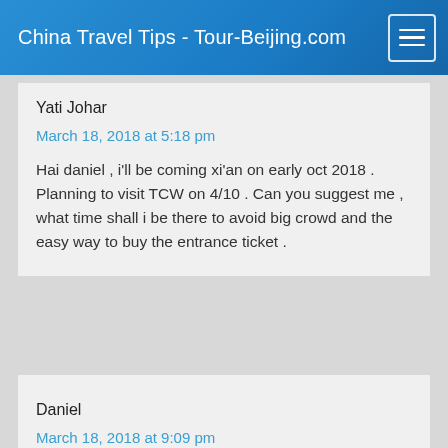China Travel Tips - Tour-Beijing.com
Yati Johar
March 18, 2018 at 5:18 pm
Hai daniel , i'll be coming xi'an on early oct 2018 . Planning to visit TCW on 4/10 . Can you suggest me , what time shall i be there to avoid big crowd and the easy way to buy the entrance ticket .
Daniel
March 18, 2018 at 9:09 pm
Dear Yati Johar,
First, as you know, it'll be very crowded to visit TCW during China National Holiday ( Oct 1-7). As for the